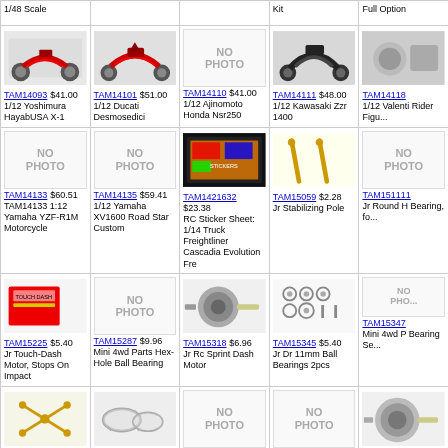| 1/48 Scale |  |  | Kit | Full Option |
| [img:motorcycle red] TAM14093 $41.00 1/12 Yoshimura HayabUSA X-1 | [img:ducati] TAM14101 $51.00 1/12 Ducati Desmosedici | [no photo] TAM14110 $41.00 1/12 Ajinomoto Honda Nsr250 | [img:kawasaki] TAM14111 $48.00 1/12 Kawasaki Zzr 1400 | [img:partial] TAM14118 1/12 Valentine Rider Figure |
| [no photo] TAM14133 $60.51 TAM14133 1:12 Yamaha YZF-R1M Motorcycle | [no photo] TAM14135 $59.41 1/12 Yamaha XV1600 Road Star Custom | [img:sticker] TAM1421632 $23.38 RC Sticker Sheet: 1/14 Truck Freightliner Cascadia Evolution Fre | [img:poles] TAM15059 $2.28 Jr Stabilizing Pole | [img:partial] TAM151111 Jr Round H Bearing, fo |
| [img:product] TAM15225 $5.40 Jr Touch-Dash Motor, Stops On Impact | [no photo] TAM15287 $9.96 Mini 4wd Parts Hex-Hole Ball Bearing | [img:motor] TAM15318 $6.96 Jr Rc Sprint Dash Motor | [img:bearings] TAM15345 $5.40 Jr Dr 11mm Ball Bearings 2pcs | [no photo partial] TAM15347 Mini 4wd P Bearing Se |
| [img:terminal] TAM15360 $5.52 Mini 4wd-Gld Plate Terminal Set | [img:tires] TAM15364 $3.72 Jr Large Diameter Soft Tire Set, Clear 4pcs | [no photo] TAM15367 $5.64 Jr Mini Reinforced N-02/T-01 Units, for Pro Ms Chassis | [no photo] TAM15374 $5.28 Jr Mini Lightweight Center Chassis Mini 4wd Pro | [img:motor2] TAM15375 Jr Hyper D Pro |
| [img:row5] | [img:row5b] | [img:row5c] | [img:row5d] | [img:row5e] |